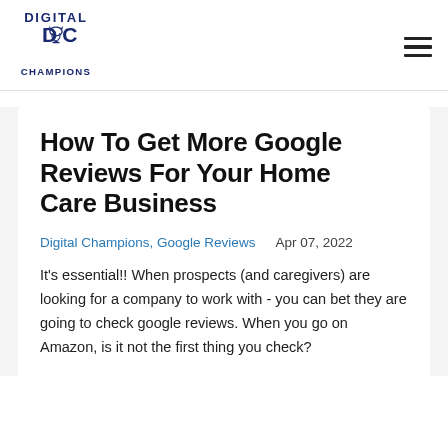Digital Champions logo and navigation menu
How To Get More Google Reviews For Your Home Care Business
Digital Champions, Google Reviews   Apr 07, 2022
It's essential!! When prospects (and caregivers) are looking for a company to work with - you can bet they are going to check google reviews. When you go on Amazon, is it not the first thing you check?